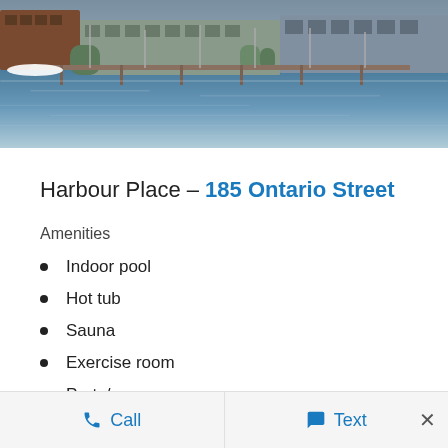[Figure (photo): Waterfront marina photo showing boats docked along a pier with buildings in the background, water reflecting light in the foreground]
Harbour Place – 185 Ontario Street
Amenities
Indoor pool
Hot tub
Sauna
Exercise room
Party/games room
Hobby room
Common patio with BBQ
Call   Text